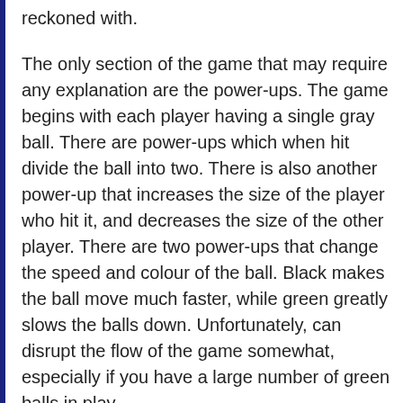reckoned with.
The only section of the game that may require any explanation are the power-ups. The game begins with each player having a single gray ball. There are power-ups which when hit divide the ball into two. There is also another power-up that increases the size of the player who hit it, and decreases the size of the other player. There are two power-ups that change the speed and colour of the ball. Black makes the ball move much faster, while green greatly slows the balls down. Unfortunately, can disrupt the flow of the game somewhat, especially if you have a large number of green balls in play.
As for the controls, they're also very simple, using only 3 keys. Player 1 uses Z and X to move left and right and S to fire while Player 2 uses the arrow keys. Unfortunately this is the...